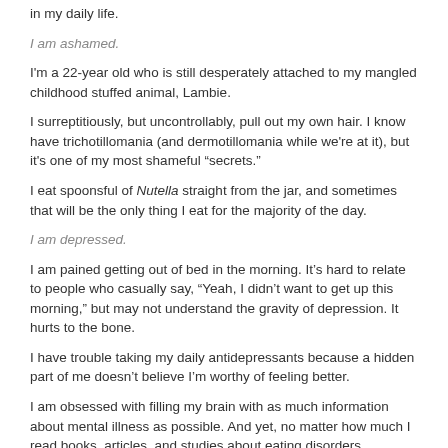in my daily life.
I am ashamed.
I'm a 22-year old who is still desperately attached to my mangled childhood stuffed animal, Lambie.
I surreptitiously, but uncontrollably, pull out my own hair. I know have trichotillomania (and dermotillomania while we're at it), but it's one of my most shameful "secrets."
I eat spoonsful of Nutella straight from the jar, and sometimes that will be the only thing I eat for the majority of the day.
I am depressed.
I am pained getting out of bed in the morning. It's hard to relate to people who casually say, "Yeah, I didn't want to get up this morning," but may not understand the gravity of depression. It hurts to the bone.
I have trouble taking my daily antidepressants because a hidden part of me doesn't believe I'm worthy of feeling better.
I am obsessed with filling my brain with as much information about mental illness as possible. And yet, no matter how much I read books, articles, and studies about eating disorders, depression, anxiety, or impulse-control disorders, I struggle to control my own mental health.
I have a hard time with "I'm depressed." Maybe because I don't believe that the real me is just buried under mental illness. It's more like "I'm a person